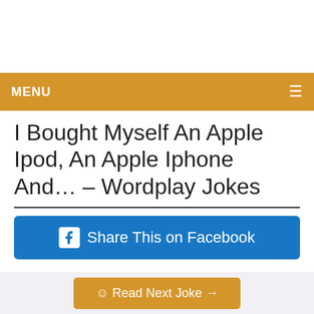MENU
I Bought Myself An Apple Ipod, An Apple Iphone And… – Wordplay Jokes
[Figure (other): Share This on Facebook button (blue, with Facebook icon)]
I bought myself an apple ipod, an apple iphone and a apple ipad today. I
☺ Read Next Joke →